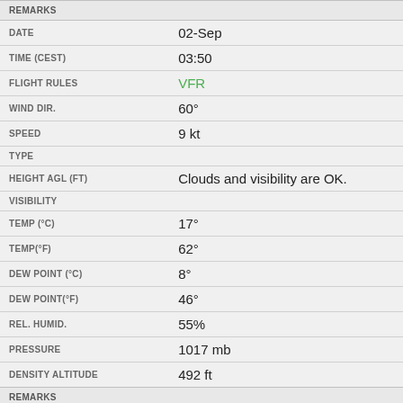| Field | Value |
| --- | --- |
| REMARKS |  |
| DATE | 02-Sep |
| TIME (CEST) | 03:50 |
| FLIGHT RULES | VFR |
| WIND DIR. | 60° |
| SPEED | 9 kt |
| TYPE |  |
| HEIGHT AGL (FT) | Clouds and visibility are OK. |
| VISIBILITY |  |
| TEMP (°C) | 17° |
| TEMP(°F) | 62° |
| DEW POINT (°C) | 8° |
| DEW POINT(°F) | 46° |
| REL. HUMID. | 55% |
| PRESSURE | 1017 mb |
| DENSITY ALTITUDE | 492 ft |
| REMARKS |  |
| DATE | 02-Sep |
| TIME (CEST) | 03:20 |
| FLIGHT RULES | VFR |